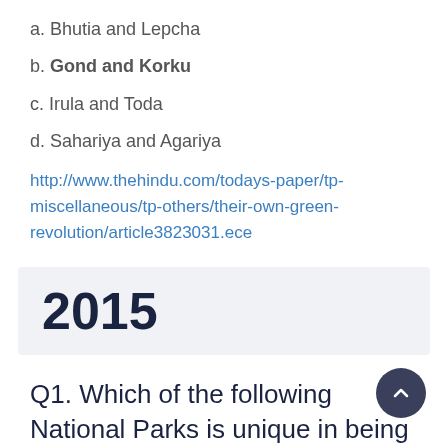a. Bhutia and Lepcha
b. Gond and Korku
c. Irula and Toda
d. Sahariya and Agariya
http://www.thehindu.com/todays-paper/tp-miscellaneous/tp-others/their-own-green-revolution/article3823031.ece
2015
Q1. Which of the following National Parks is unique in being a swamp with floating vegetation that supports a rich biodiversity?